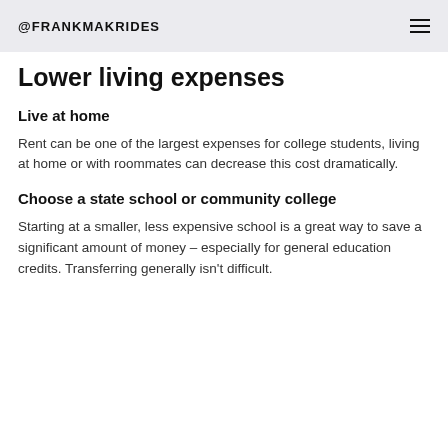@FRANKMAKRIDES
Lower living expenses
Live at home
Rent can be one of the largest expenses for college students, living at home or with roommates can decrease this cost dramatically.
Choose a state school or community college
Starting at a smaller, less expensive school is a great way to save a significant amount of money – especially for general education credits. Transferring generally isn't difficult.